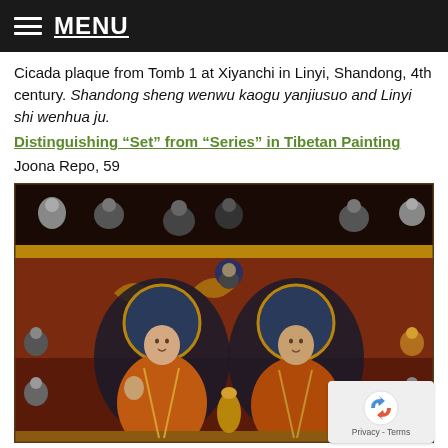MENU
Cicada plaque from Tomb 1 at Xiyanchi in Linyi, Shandong, 4th century. Shandong sheng wenwu kaogu yanjiusuo and Linyi shi wenhua ju.
Distinguishing “Set” from “Series” in Tibetan Painting
Joona Repo, 59
[Figure (photo): Tibetan thangka painting showing two seated lamas or monks in orange robes with halos, surrounded by many smaller Buddhist figures in an ornate composition with gold and dark red colors]